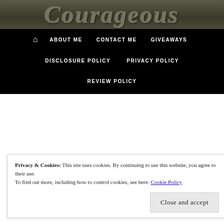[Figure (photo): Decorative blog header image with stylized text on a dark textured background]
ABOUT ME  CONTACT ME  GIVEAWAYS  DISCLOSURE POLICY  PRIVACY POLICY  REVIEW POLICY
#YA Twelve Days of
Privacy & Cookies: This site uses cookies. By continuing to use this website, you agree to their use.
To find out more, including how to control cookies, see here: Cookie Policy
Close and accept
DECEMBER 11, 2017  |  BY MARY  |